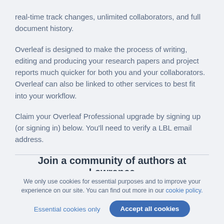real-time track changes, unlimited collaborators, and full document history.
Overleaf is designed to make the process of writing, editing and producing your research papers and project reports much quicker for both you and your collaborators. Overleaf can also be linked to other services to best fit into your workflow.
Claim your Overleaf Professional upgrade by signing up (or signing in) below. You'll need to verify a LBL email address.
Join a community of authors at Lawrence
We only use cookies for essential purposes and to improve your experience on our site. You can find out more in our cookie policy.
Essential cookies only   Accept all cookies